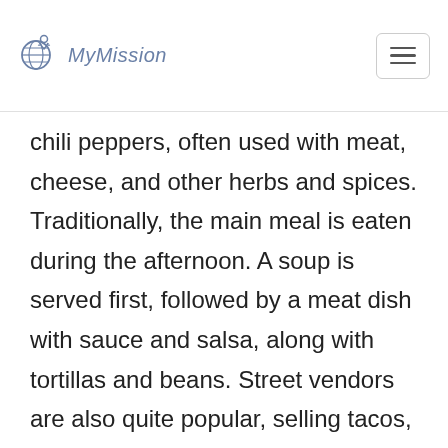MyMission
chili peppers, often used with meat, cheese, and other herbs and spices. Traditionally, the main meal is eaten during the afternoon. A soup is served first, followed by a meat dish with sauce and salsa, along with tortillas and beans. Street vendors are also quite popular, selling tacos, quesadillas, tortas, roasted chicken, and other dishes. Bacon-wrapped hot dogs are another popular street vendor food. Cuisine varies in different regions, with flour tortillas, burritos, cheese, and beef being more popular in the north, while tropical fruits and tamales are more